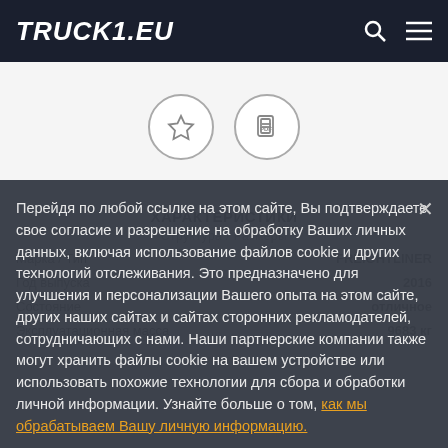TRUCK1.EU
[Figure (illustration): Two circular icon buttons: a star/favorite icon and a PDF icon, on a light grey background]
Характеристики
Структура / Размеры
Марка / Тип: FREIGHTLINER
Год выпуска: 2016
Состояние: отличное
Эксплуатационная масса: 9683 кг
Перейдя по любой ссылке на этом сайте, Вы подтверждаете свое согласие и разрешение на обработку Ваших личных данных, включая использование файлов cookie и других технологий отслеживания. Это предназначено для улучшения и персонализации Вашего опыта на этом сайте, других наших сайтах и сайтах сторонних рекламодателей, сотрудничающих с нами. Наши партнерские компании также могут хранить файлы cookie на вашем устройстве или использовать похожие технологии для сбора и обработки личной информации. Узнайте больше о том, как мы обрабатываем Вашу личную информацию.